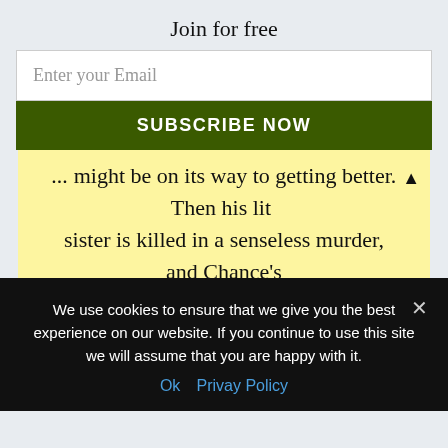Join for free
Enter your Email
SUBSCRIBE NOW
might be on its way to getting better. Then his little sister is killed in a senseless murder, and Chance’s world starts falling apart.
We use cookies to ensure that we give you the best experience on our website. If you continue to use this site we will assume that you are happy with it.
Ok   Privay Policy